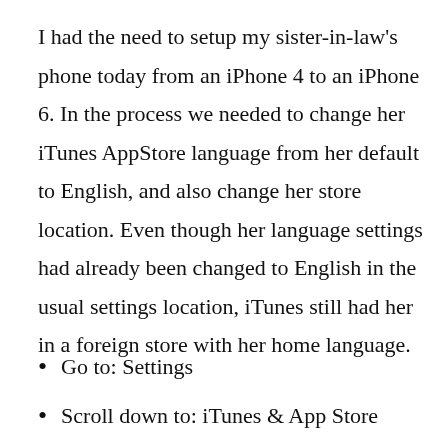I had the need to setup my sister-in-law's phone today from an iPhone 4 to an iPhone 6. In the process we needed to change her iTunes AppStore language from her default to English, and also change her store location. Even though her language settings had already been changed to English in the usual settings location, iTunes still had her in a foreign store with her home language.
Go to: Settings
Scroll down to: iTunes & App Store